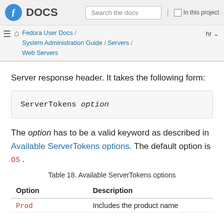Fedora DOCS | Search the docs | In this project | Fedora User Docs / System Administration Guide / Servers / Web Servers | hr
Server response header. It takes the following form:
The option has to be a valid keyword as described in Available ServerTokens options. The default option is OS.
Table 18. Available ServerTokens options
| Option | Description |
| --- | --- |
| Prod | Includes the product name |